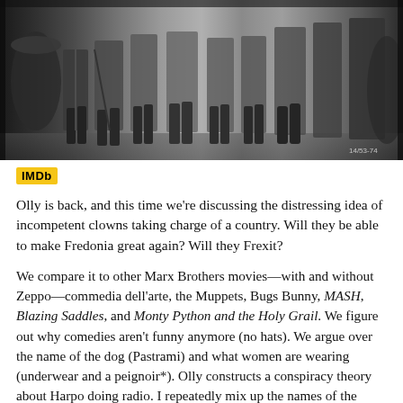[Figure (photo): Black and white photograph showing several people from the waist down, wearing coats and boots, standing together. A timestamp '14/53-74' is visible in the lower right corner.]
IMDb
Olly is back, and this time we're discussing the distressing idea of incompetent clowns taking charge of a country. Will they be able to make Fredonia great again? Will they Frexit?
We compare it to other Marx Brothers movies—with and without Zeppo—commedia dell'arte, the Muppets, Bugs Bunny, MASH, Blazing Saddles, and Monty Python and the Holy Grail. We figure out why comedies aren't funny anymore (no hats). We argue over the name of the dog (Pastrami) and what women are wearing (underwear and a peignoir*). Olly constructs a conspiracy theory about Harpo doing radio. I repeatedly mix up the names of the brothers. Olly can't think